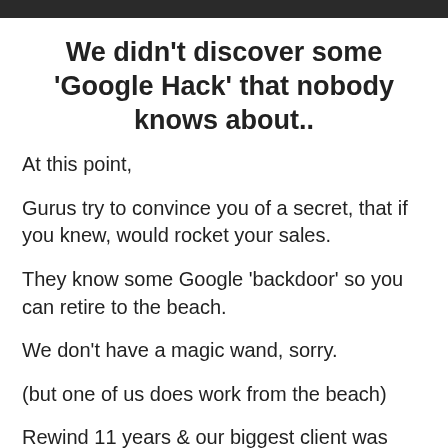[Figure (photo): Dark image strip at the top of the page]
We didn't discover some 'Google Hack' that nobody knows about..
At this point,
Gurus try to convince you of a secret, that if you knew, would rocket your sales.
They know some Google 'backdoor' so you can retire to the beach.
We don't have a magic wand, sorry.
(but one of us does work from the beach)
Rewind 11 years & our biggest client was wiped out by the Global Financial Crisis.